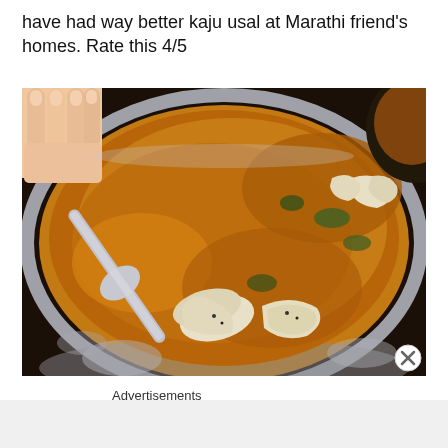have had way better kaju usal at Marathi friend's homes. Rate this 4/5
[Figure (photo): A metal bowl (thali) containing kaju usal - a spiced cashew curry dish with a rich orange-brown gravy, garnished with whole cashews. A spoon is being held into the bowl by a hand visible at the top left. The bowl sits on a hammered metal surface.]
Advertisements